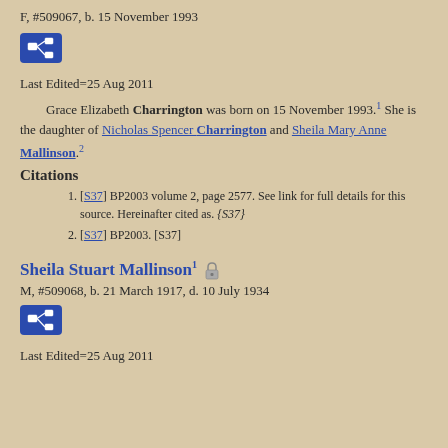F, #509067, b. 15 November 1993
[Figure (other): Blue icon button with family tree/pedigree chart symbol]
Last Edited=25 Aug 2011
Grace Elizabeth Charrington was born on 15 November 1993.1 She is the daughter of Nicholas Spencer Charrington and Sheila Mary Anne Mallinson.2
Citations
[S37] BP2003 volume 2, page 2577. See link for full details for this source. Hereinafter cited as. {S37}
[S37] BP2003. [S37]
Sheila Stuart Mallinson
M, #509068, b. 21 March 1917, d. 10 July 1934
[Figure (other): Blue icon button with family tree/pedigree chart symbol]
Last Edited=25 Aug 2011